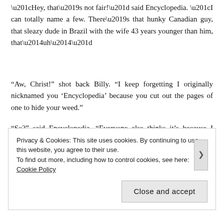“Hey, that’s not fair!” said Encyclopedia. “I can totally name a few. There’s that hunky Canadian guy, that sleazy dude in Brazil with the wife 43 years younger than him, that—uh—”
“Aw, Christ!” shot back Billy. “I keep forgetting I originally nicknamed you ‘Encyclopedia’ because you cut out the pages of one to hide your weed.”
“So?” said Encyclopedia. “Everyone else thinks it’s because I know things!”
Privacy & Cookies: This site uses cookies. By continuing to use this website, you agree to their use.
To find out more, including how to control cookies, see here: Cookie Policy
Close and accept